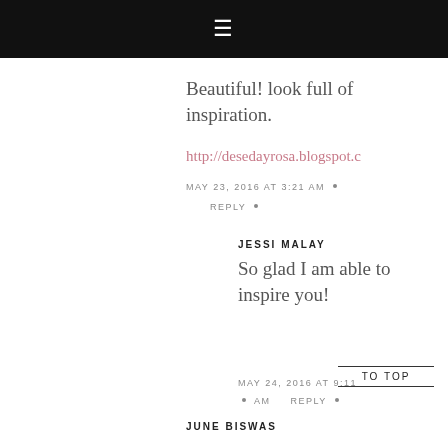≡
Beautiful! look full of inspiration.
http://desedayrosa.blogspot.c
MAY 23, 2016 AT 3:21 AM • REPLY •
JESSI MALAY
So glad I am able to inspire you!
MAY 24, 2016 AT 9:11 AM • REPLY •
TO TOP
JUNE BISWAS